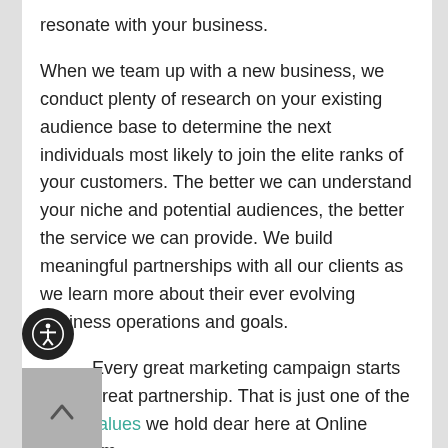resonate with your business.

When we team up with a new business, we conduct plenty of research on your existing audience base to determine the next individuals most likely to join the elite ranks of your customers. The better we can understand your niche and potential audiences, the better the service we can provide. We build meaningful partnerships with all our clients as we learn more about their ever evolving business operations and goals.

Every great marketing campaign starts with a great partnership. That is just one of the many values we hold dear here at Online Optimism.